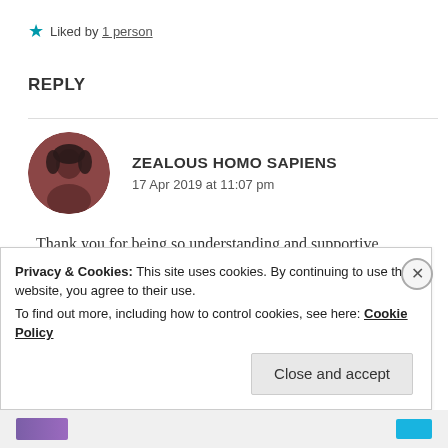★ Liked by 1 person
REPLY
[Figure (photo): Circular avatar photo of a person with dark hair against a reddish-brown background]
ZEALOUS HOMO SAPIENS
17 Apr 2019 at 11:07 pm
Thank you for being so understanding and supportive.
Best wishes to you too and live your life to the
Privacy & Cookies: This site uses cookies. By continuing to use this website, you agree to their use.
To find out more, including how to control cookies, see here: Cookie Policy
Close and accept